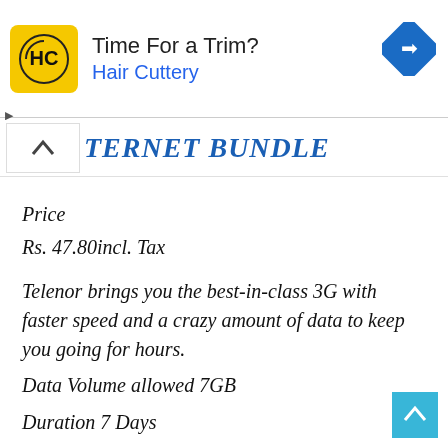[Figure (other): Advertisement banner for Hair Cuttery. Shows HC logo (yellow square with HC monogram), text 'Time For a Trim?' and 'Hair Cuttery' in blue, and a blue diamond navigation icon on the right.]
TERNET BUNDLE
Price
Rs. 47.80incl. Tax
Telenor brings you the best-in-class 3G with faster speed and a crazy amount of data to keep you going for hours.
Data Volume allowed 7GB
Duration 7 Days